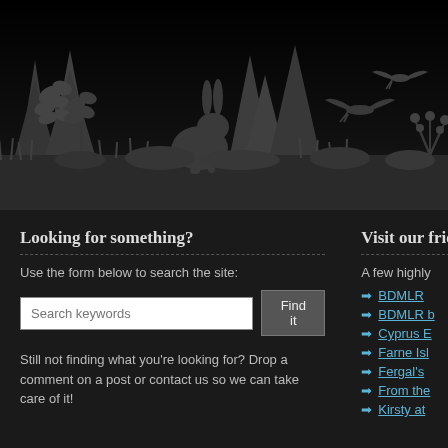[Figure (illustration): Dark nature silhouette banner with rabbit, birds in flight, trees, plants and foliage against a dark background gradient from black at top to dark grey at bottom]
Looking for something?
Use the form below to search the site:
Search keywords [input] Find it [button]
Still not finding what you're looking for? Drop a comment on a post or contact us so we can take care of it!
Visit our frie
A few highly
BDMLR
BDMLR b
Cyprus E
Farne Isl
Fergal's
From the
Kirsty at